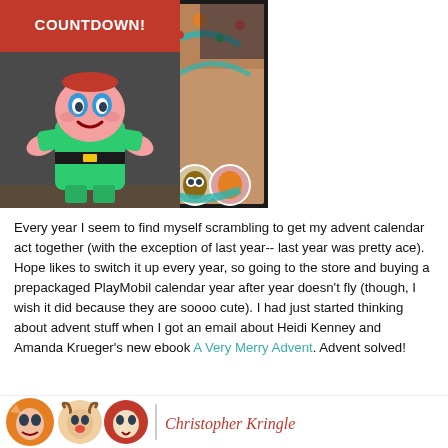[Figure (photo): Book cover of 'A Very Merry Advent' ebook showing craft supplies, ribbons, candy canes, and ornaments on a brown background with white bold text and a gold star]
[Figure (illustration): Cartoon elf character in green outfit with yellow belt buckle, pink skin, big eyes, against a grey background, with a red speech bubble above saying 'COUNTDOWN!']
Every year I seem to find myself scrambling to get my advent calendar act together (with the exception of last year-- last year was pretty ace).  Hope likes to switch it up every year, so going to the store and buying a prepackaged PlayMobil calendar year after year doesn't fly (though, I wish it did because they are soooo cute).  I had just started thinking about advent stuff when I got an email about Heidi Kenney and Amanda Krueger's new ebook A Very Merry Advent.  Advent solved!
[Figure (illustration): Bottom strip showing circular character icons (fox, reindeer, girl in red cape) and a divider line next to cursive text reading 'Christopher Kringle']